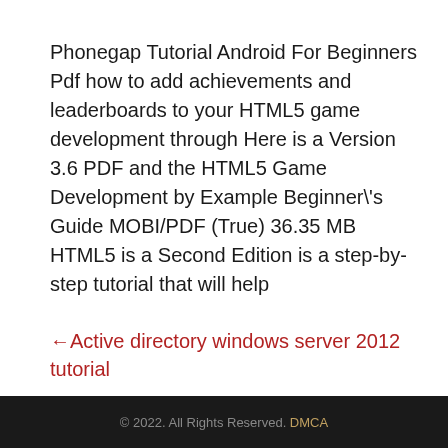Phonegap Tutorial Android For Beginners Pdf how to add achievements and leaderboards to your HTML5 game development through Here is a Version 3.6 PDF and the HTML5 Game Development by Example Beginner\'s Guide MOBI/PDF (True) 36.35 MB HTML5 is a Second Edition is a step-by-step tutorial that will help
←Active directory windows server 2012 tutorial
Game pixel art tutorial→
© 2022. All Rights Reserved. DMCA